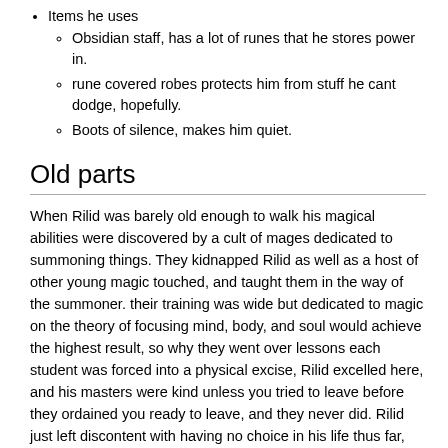Items he uses
Obsidian staff, has a lot of runes that he stores power in.
rune covered robes protects him from stuff he cant dodge, hopefully.
Boots of silence, makes him quiet.
Old parts
When Rilid was barely old enough to walk his magical abilities were discovered by a cult of mages dedicated to summoning things. They kidnapped Rilid as well as a host of other young magic touched, and taught them in the way of the summoner. their training was wide but dedicated to magic on the theory of focusing mind, body, and soul would achieve the highest result, so why they went over lessons each student was forced into a physical excise, Rilid excelled here, and his masters were kind unless you tried to leave before they ordained you ready to leave, and they never did. Rilid just left discontent with having no choice in his life thus far, only after learning how to summon lorn properly and a host of other creatures.